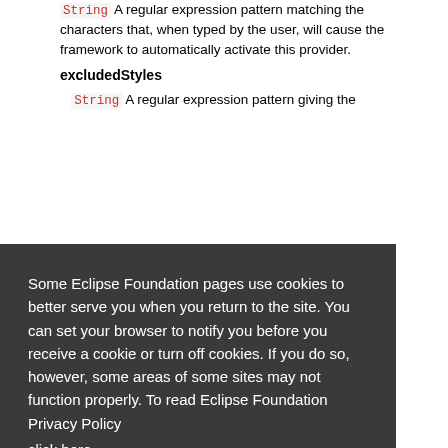String A regular expression pattern matching the characters that, when typed by the user, will cause the framework to automatically activate this provider.
excludedStyles
String A regular expression pattern giving the
Some Eclipse Foundation pages use cookies to better serve you when you return to the site. You can set your browser to notify you before you receive a cookie or turn off cookies. If you do so, however, some areas of some sites may not function properly. To read Eclipse Foundation Privacy Policy click here.
The example below provides content assist